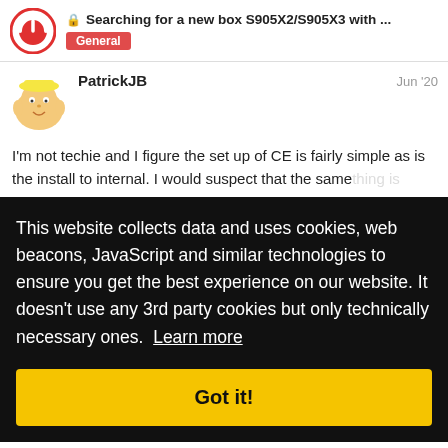Searching for a new box S905X2/S905X3 with ... General
PatrickJB  Jun '20
I'm not techie and I figure the set up of CE is fairly simple as is the install to internal. I would suspect that the same thing is get
[Figure (screenshot): Cookie consent overlay on dark background reading: This website collects data and uses cookies, web beacons, JavaScript and similar technologies to ensure you get the best experience on our website. It doesn't use any 3rd party cookies but only technically necessary ones. Learn more. With a yellow 'Got it!' button below.]
X2 box a few nal
make recommendations especially if they o